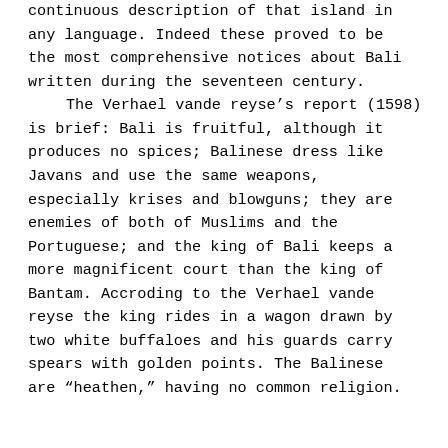continuous description of that island in any language. Indeed these proved to be the most comprehensive notices about Bali written during the seventeen century.
   The Verhael vande reyse’s report (1598) is brief: Bali is fruitful, although it produces no spices; Balinese dress like Javans and use the same weapons, especially krises and blowguns; they are enemies of both of Muslims and the Portuguese; and the king of Bali keeps a more magnificent court than the king of Bantam. Accroding to the Verhael vande reyse the king rides in a wagon drawn by two white buffaloes and his guards carry spears with golden points. The Balinese are “heathen,” having no common religion.